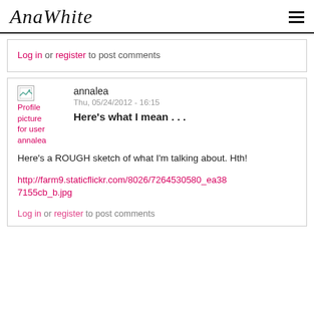AnaWhite
Log in or register to post comments
annalea
Thu, 05/24/2012 - 16:15
Here's what I mean . . .
Here's a ROUGH sketch of what I'm talking about. Hth!
http://farm9.staticflickr.com/8026/7264530580_ea387155cb_b.jpg
Log in or register to post comments